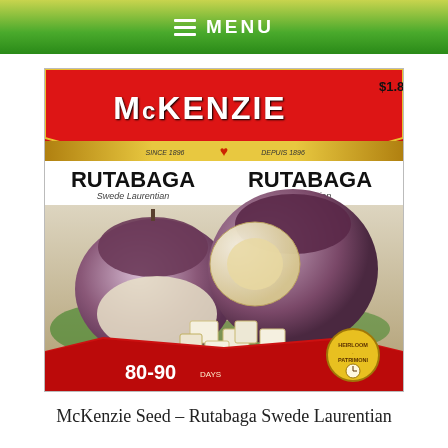≡ MENU
[Figure (photo): McKenzie Seed packet for Rutabaga Swede Laurentian. Red packet with gold banner. Shows 'McKENZIE' brand name, bilingual text 'RUTABAGA / Swede Laurentian' in English and French. Price $1.89. Photo of rutabagas whole and cubed. Bottom shows '80-90 days' and Heirloom-Patrimoine badge.]
McKenzie Seed – Rutabaga Swede Laurentian